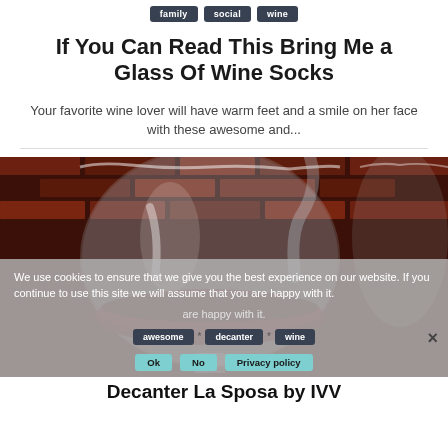family | social | wine
If You Can Read This Bring Me a Glass Of Wine Socks
Your favorite wine lover will have warm feet and a smile on her face with these awesome and...
[Figure (photo): Close-up photo of a large round wine glass/decanter being poured, with red wine visible, against a brick background]
We use cookies to ensure that we give you the best experience on our website. If you continue to use this site we will assume that you are happy with it.
Ok | No | Privacy policy
Decanter La Sposa by IVV
awesome * decanter * wine